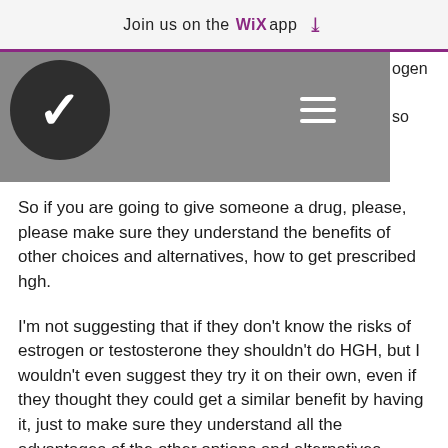Join us on the WiX app ↓
[Figure (logo): Dark circular logo with white V letter, on grey navigation bar with hamburger menu icon]
So if you are going to give someone a drug, please, please make sure they understand the benefits of other choices and alternatives, how to get prescribed hgh.
I'm not suggesting that if they don't know the risks of estrogen or testosterone they shouldn't do HGH, but I wouldn't even suggest they try it on their own, even if they thought they could get a similar benefit by having it, just to make sure they understand all the advantages of the other options and alternatives.
The bottom line, is that we're talking about a